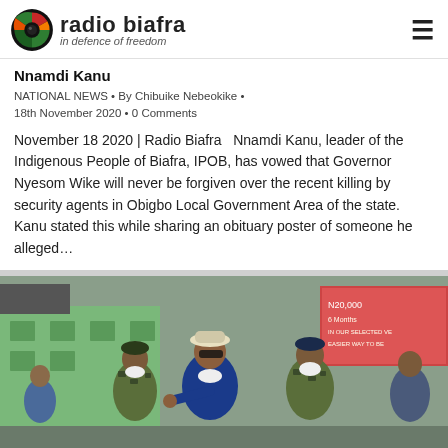radio biafra — in defence of freedom
Nnamdi Kanu
NATIONAL NEWS • By Chibuike Nebeokike • 18th November 2020 • 0 Comments
November 18 2020 | Radio Biafra   Nnamdi Kanu, leader of the Indigenous People of Biafra, IPOB, has vowed that Governor Nyesom Wike will never be forgiven over the recent killing by security agents in Obigbo Local Government Area of the state.   Kanu stated this while sharing an obituary poster of someone he alleged…
[Figure (photo): Photo of a man in a blue shirt and white hat pointing, surrounded by military personnel in camouflage uniforms and face masks, outdoors near buildings.]